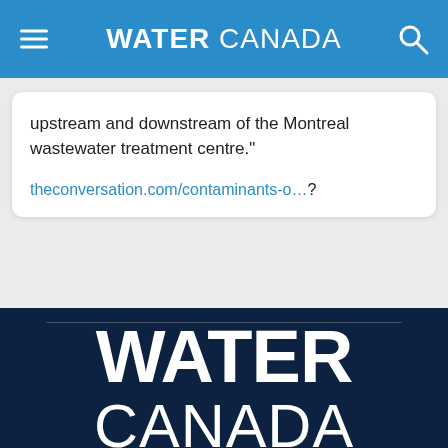WATER CANADA
upstream and downstream of the Montreal wastewater treatment centre."
theconversation.com/contaminants-o…?
[Figure (logo): WATER CANADA logo in white text on dark navy background]
WATER CANADA